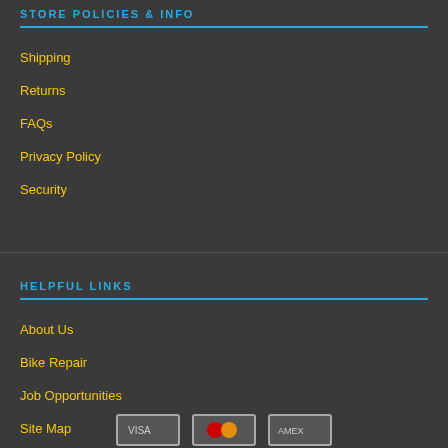STORE POLICIES & INFO
Shipping
Returns
FAQs
Privacy Policy
Security
HELPFUL LINKS
About Us
Bike Repair
Job Opportunities
Site Map
[Figure (logo): Payment method logos at bottom of page]